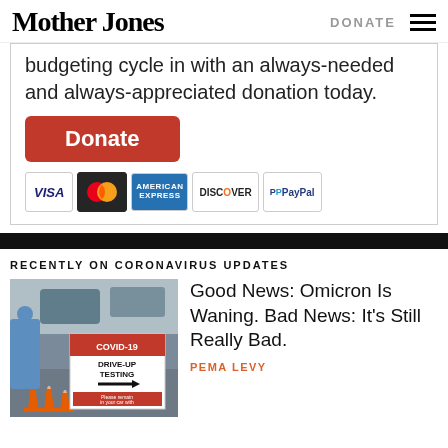Mother Jones | DONATE
budgeting cycle in with an always-needed and always-appreciated donation today.
[Figure (infographic): Orange donate button followed by payment icons: VISA, MasterCard, American Express, Discover, PayPal]
RECENTLY ON CORONAVIRUS UPDATES
[Figure (photo): Photo of a COVID-19 Drive-Up Testing sign with orange traffic cones]
Good News: Omicron Is Waning. Bad News: It’s Still Really Bad.
PEMA LEVY